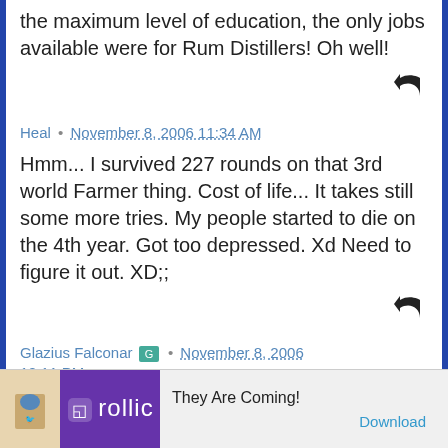the maximum level of education, the only jobs available were for Rum Distillers! Oh well!
[Figure (other): Reply/share arrow icon]
Heal • November 8, 2006 11:34 AM
Hmm... I survived 227 rounds on that 3rd world Farmer thing. Cost of life... It takes still some more tries. My people started to die on the 4th year. Got too depressed. Xd Need to figure it out. XD;;
[Figure (other): Reply/share arrow icon]
Glazius Falconar • November 8, 2006 12:11 PM
It seems like the new house and computer are
[Figure (other): Advertisement banner: Rollic game ad - They Are Coming! with Download button]